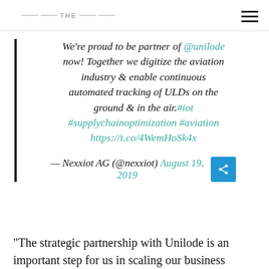THE
We're proud to be partner of @unilode now! Together we digitize the aviation industry & enable continuous automated tracking of ULDs on the ground & in the air.#iot #supplychainoptimization #aviation https://t.co/4WemHoSk4x
— Nexxiot AG (@nexxiot) August 19, 2019
“The strategic partnership with Unilode is an important step for us in scaling our business